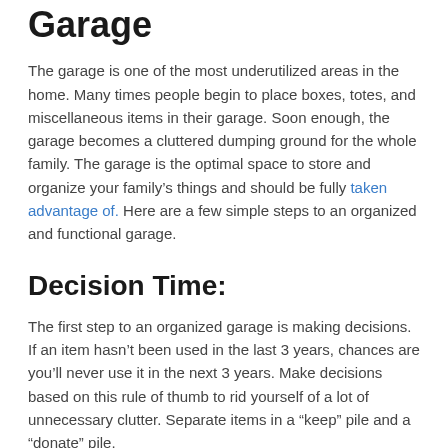Garage
The garage is one of the most underutilized areas in the home. Many times people begin to place boxes, totes, and miscellaneous items in their garage. Soon enough, the garage becomes a cluttered dumping ground for the whole family. The garage is the optimal space to store and organize your family’s things and should be fully taken advantage of. Here are a few simple steps to an organized and functional garage.
Decision Time:
The first step to an organized garage is making decisions. If an item hasn’t been used in the last 3 years, chances are you’ll never use it in the next 3 years. Make decisions based on this rule of thumb to rid yourself of a lot of unnecessary clutter. Separate items in a “keep” pile and a “donate” pile.
Donate:
Once you’ve separated your things, donate gently used and useful items to your local charity. Donating to a local charity is a great way to give back to your community, recycle and receive a tax deduction. Who wouldn’t find those reasons appealing? Now, you’re ready to